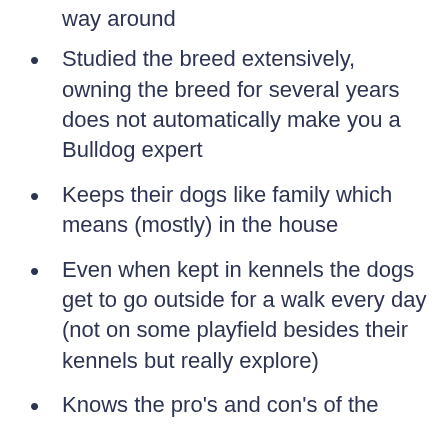way around
Studied the breed extensively, owning the breed for several years does not automatically make you a Bulldog expert
Keeps their dogs like family which means (mostly) in the house
Even when kept in kennels the dogs get to go outside for a walk every day (not on some playfield besides their kennels but really explore)
Knows the pro's and con's of the